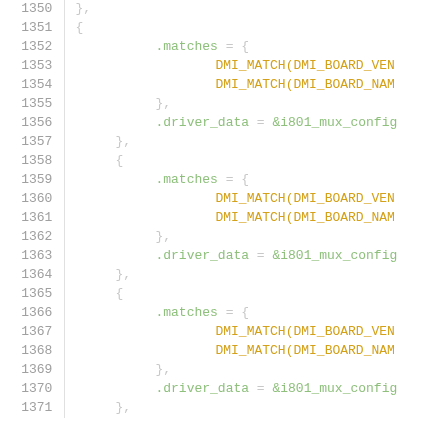Source code listing lines 1350-1371 showing C struct initialization with .matches and .driver_data fields using DMI_MATCH macros and i801_mux_config references.